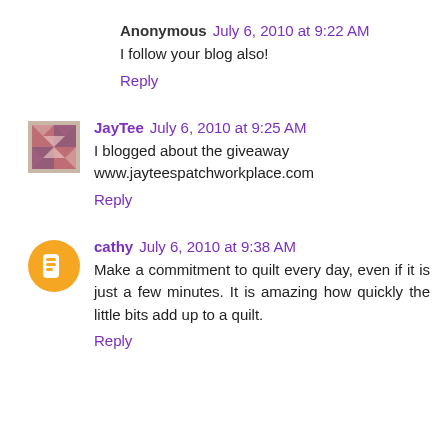Anonymous July 6, 2010 at 9:22 AM
I follow your blog also!
Reply
JayTee July 6, 2010 at 9:25 AM
I blogged about the giveaway www.jayteespatchworkplace.com
Reply
cathy July 6, 2010 at 9:38 AM
Make a commitment to quilt every day, even if it is just a few minutes. It is amazing how quickly the little bits add up to a quilt.
Reply